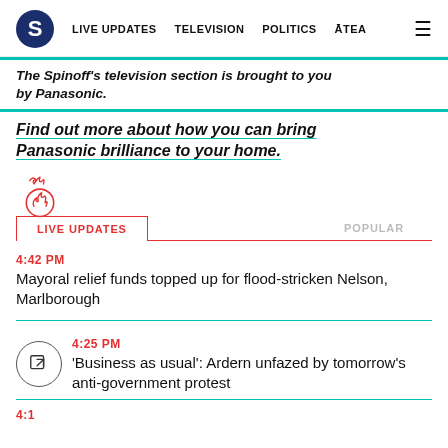S | LIVE UPDATES | TELEVISION | POLITICS | ĀTEA | ≡
The Spinoff's television section is brought to you by Panasonic.
Find out more about how you can bring Panasonic brilliance to your home.
[Figure (illustration): Red outlined fire/globe icon for Live Updates section]
LIVE UPDATES | POPULAR
4:42 PM
Mayoral relief funds topped up for flood-stricken Nelson, Marlborough
4:25 PM
'Business as usual': Ardern unfazed by tomorrow's anti-government protest